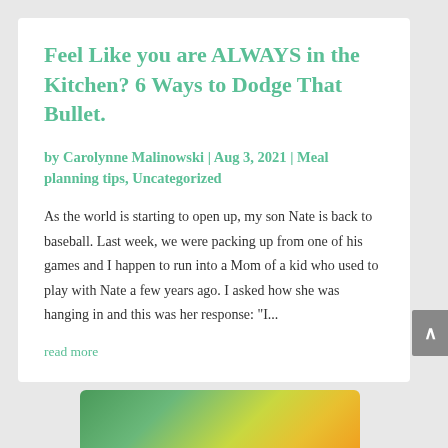Feel Like you are ALWAYS in the Kitchen? 6 Ways to Dodge That Bullet.
by Carolynne Malinowski | Aug 3, 2021 | Meal planning tips, Uncategorized
As the world is starting to open up, my son Nate is back to baseball. Last week, we were packing up from one of his games and I happen to run into a Mom of a kid who used to play with Nate a few years ago. I asked how she was hanging in and this was her response: "I...
read more
[Figure (photo): Partial image visible at bottom of page, appears to show food or nature with green and yellow colors]